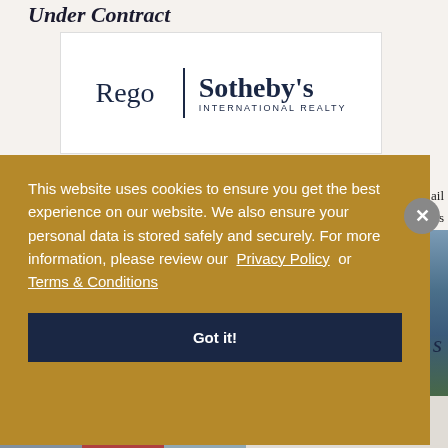Under Contract
[Figure (logo): Rego | Sotheby's International Realty logo — dark navy text on white background with a vertical divider bar]
The D. Rego Building on Reid Street provides business owners an
This website uses cookies to ensure you get the best experience on our website. We also ensure your personal data is stored safely and securely. For more information, please review our Privacy Policy or Terms & Conditions
Got it!